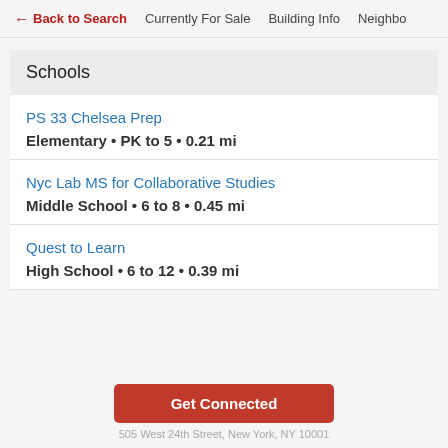← Back to Search   Currently For Sale   Building Info   Neighbo
Schools
PS 33 Chelsea Prep
Elementary • PK to 5 • 0.21 mi
Nyc Lab MS for Collaborative Studies
Middle School • 6 to 8 • 0.45 mi
Quest to Learn
High School • 6 to 12 • 0.39 mi
Get Connected
505 West 24th Street, New York, NY 10001